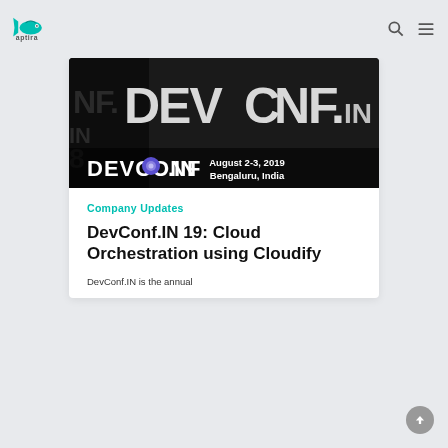aptira — navigation bar with logo, search, and menu icons
[Figure (photo): DevConf.IN conference banner image showing large 3D DEVCONF.IN letters on a dark background, with text 'August 2-3, 2019 Bengaluru, India' in the bottom right]
Company Updates
DevConf.IN 19: Cloud Orchestration using Cloudify
DevConf.IN is the annual